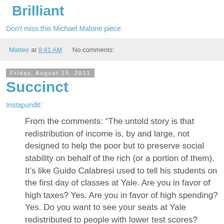Brilliant
Don't miss this Michael Malone piece.
Matteo at 8:41 AM    No comments:
Friday, August 19, 2011
Succinct
Instapundit:
From the comments: “The untold story is that redistribution of income is, by and large, not designed to help the poor but to preserve social stability on behalf of the rich (or a portion of them). It’s like Guido Calabresi used to tell his students on the first day of classes at Yale. Are you in favor of high taxes? Yes. Are you in favor of high spending? Yes. Do you want to see your seats at Yale redistributed to people with lower test scores? Silence. Aha, he would say, you just